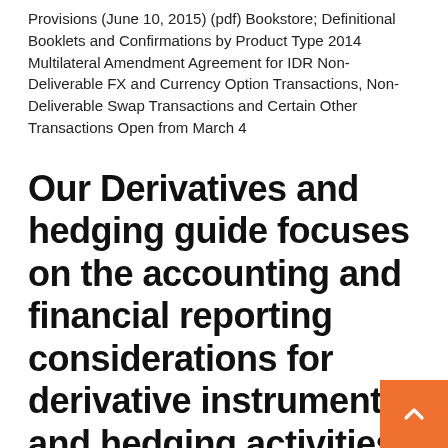Provisions (June 10, 2015) (pdf) Bookstore; Definitional Booklets and Confirmations by Product Type 2014 Multilateral Amendment Agreement for IDR Non-Deliverable FX and Currency Option Transactions, Non-Deliverable Swap Transactions and Certain Other Transactions Open from March 4
Our Derivatives and hedging guide focuses on the accounting and financial reporting considerations for derivative instruments and hedging activities, and reflects the targeted